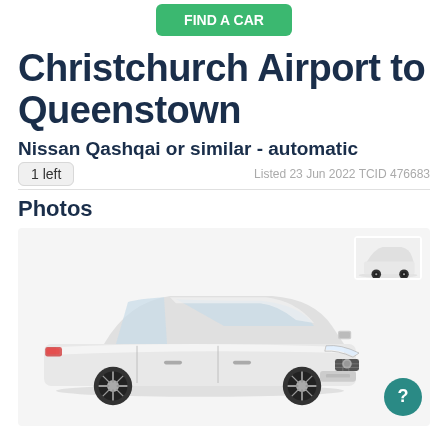FIND A CAR
Christchurch Airport to Queenstown
Nissan Qashqai or similar - automatic
1 left
Listed 23 Jun 2022 TCID 476683
Photos
[Figure (photo): White Nissan Qashqai SUV on white background, front three-quarter view. Thumbnail of the same car visible in top right corner.]